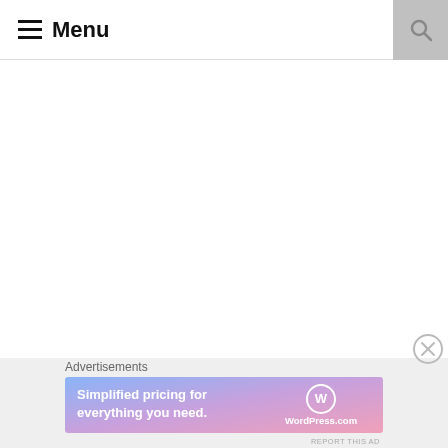Menu
Advertisements
[Figure (other): Close/dismiss button (circle with X)]
Advertisements
[Figure (infographic): WordPress.com advertisement banner: 'Simplified pricing for everything you need.' with WordPress.com logo on gradient background (blue to pink)]